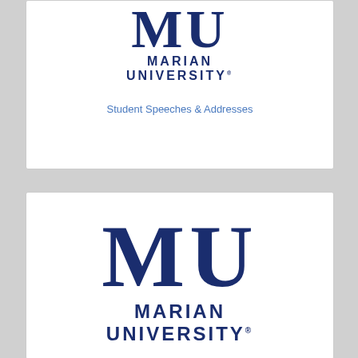[Figure (logo): Marian University logo with MU monogram (partial, cropped at top) and text MARIAN UNIVERSITY with registered trademark symbol]
Student Speeches & Addresses
[Figure (logo): Marian University logo with large MU monogram and text MARIAN UNIVERSITY with registered trademark symbol]